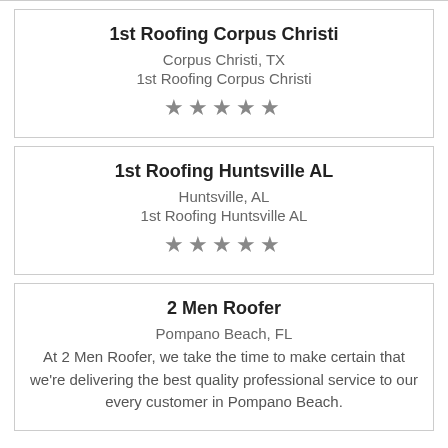1st Roofing Corpus Christi
Corpus Christi, TX
1st Roofing Corpus Christi
[Figure (other): Five empty star rating icons]
1st Roofing Huntsville AL
Huntsville, AL
1st Roofing Huntsville AL
[Figure (other): Five empty star rating icons]
2 Men Roofer
Pompano Beach, FL
At 2 Men Roofer, we take the time to make certain that we're delivering the best quality professional service to our every customer in Pompano Beach.